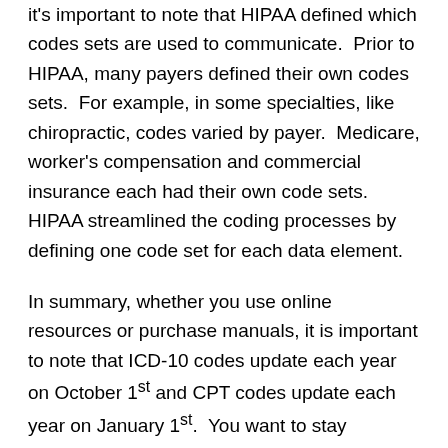it's important to note that HIPAA defined which codes sets are used to communicate.  Prior to HIPAA, many payers defined their own codes sets.  For example, in some specialties, like chiropractic, codes varied by payer.  Medicare, worker's compensation and commercial insurance each had their own code sets.  HIPAA streamlined the coding processes by defining one code set for each data element.
In summary, whether you use online resources or purchase manuals, it is important to note that ICD-10 codes update each year on October 1st and CPT codes update each year on January 1st.  You want to stay updated to the most current codes to be compliant with your coding and billing and to reduce denials from payers.
This was brought to you by Billing Buddies.  Billing Buddies...